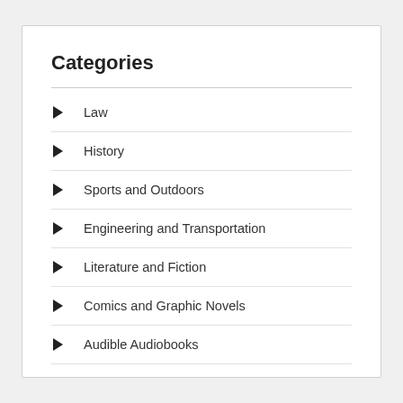Categories
Law
History
Sports and Outdoors
Engineering and Transportation
Literature and Fiction
Comics and Graphic Novels
Audible Audiobooks
Parenting and Relationships